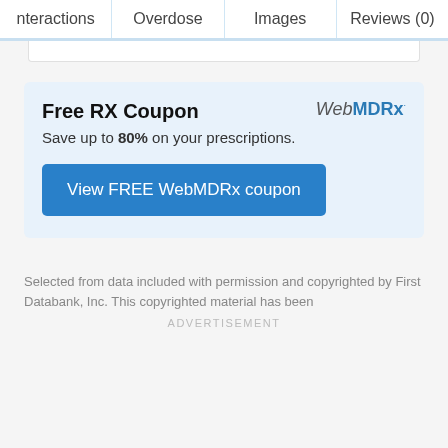nteractions | Overdose | Images | Reviews (0)
[Figure (infographic): WebMDRx Free RX Coupon advertisement banner with blue background. Title: Free RX Coupon. Subtitle: Save up to 80% on your prescriptions. Button: View FREE WebMDRx coupon. WebMDRx logo in top right.]
Selected from data included with permission and copyrighted by First Databank, Inc. This copyrighted material has been
ADVERTISEMENT